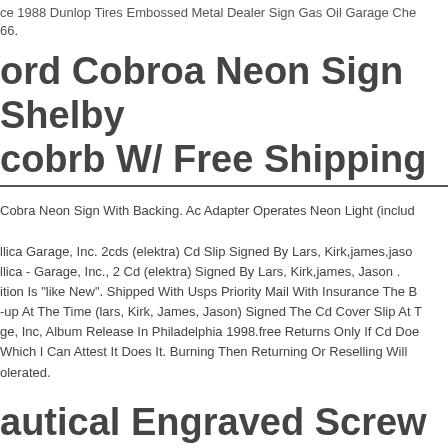ce 1988 Dunlop Tires Embossed Metal Dealer Sign Gas Oil Garage Che 66.
ord Cobroa Neon Sign Shelby cobrb W/ Free Shipping
Cobra Neon Sign With Backing. Ac Adapter Operates Neon Light (includ
llica Garage, Inc. 2cds (elektra) Cd Slip Signed By Lars, Kirk,james,jaso llica - Garage, Inc., 2 Cd (elektra) Signed By Lars, Kirk,james, Jason . ition Is "like New". Shipped With Usps Priority Mail With Insurance The B -up At The Time (lars, Kirk, James, Jason) Signed The Cd Cover Slip At T ge, Inc, Album Release In Philadelphia 1998.free Returns Only If Cd Doe Which I Can Attest It Does It. Burning Then Returning Or Reselling Will olerated.
autical Engraved Screw Room Do ign Wall Plaque Sign Lot Of 100